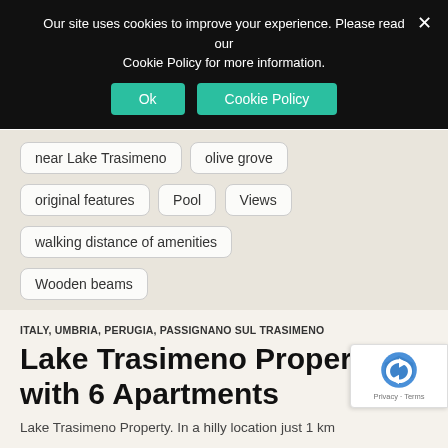Our site uses cookies to improve your experience. Please read our Cookie Policy for more information.
near Lake Trasimeno
olive grove
original features
Pool
Views
walking distance of amenities
Wooden beams
ITALY, UMBRIA, PERUGIA, PASSIGNANO SUL TRASIMENO
Lake Trasimeno Property with 6 Apartments
Lake Trasimeno Property.  In a hilly location just 1 km